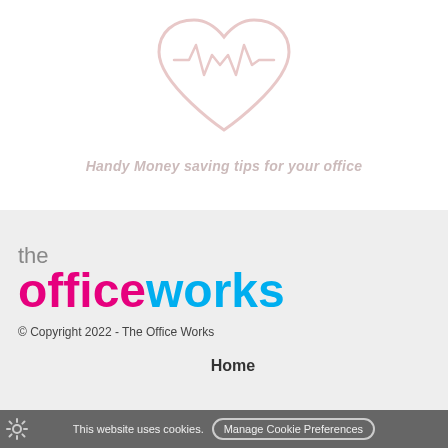[Figure (illustration): Light pink/grey heart outline with a heartbeat/EKG line inside it]
Handy Money saving tips for your office
[Figure (logo): The Office Works logo: 'the' in grey, 'office' in magenta/pink bold, 'works' in cyan/blue bold]
© Copyright 2022 - The Office Works
Home
This website uses cookies. [Manage Cookie Preferences]